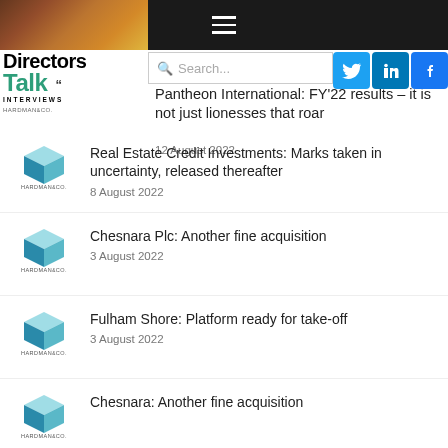[Figure (logo): Directors Talk Interviews logo with Hardman & Co branding]
19 August 2022
Pantheon International: FY'22 results – it is not just lionesses that roar
12 August 2022
[Figure (logo): Hardman & Co cube logo]
Real Estate Credit Investments: Marks taken in uncertainty, released thereafter
8 August 2022
[Figure (logo): Hardman & Co cube logo]
Chesnara Plc: Another fine acquisition
3 August 2022
[Figure (logo): Hardman & Co cube logo]
Fulham Shore: Platform ready for take-off
3 August 2022
[Figure (logo): Hardman & Co cube logo]
Chesnara: Another fine acquisition